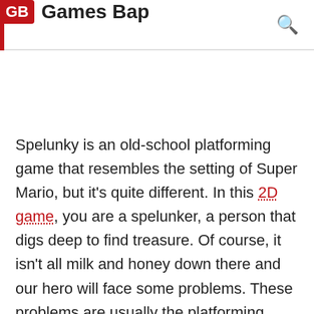GB Games Bap
Spelunky is an old-school platforming game that resembles the setting of Super Mario, but it's quite different. In this 2D game, you are a spelunker, a person that digs deep to find treasure. Of course, it isn't all milk and honey down there and our hero will face some problems. These problems are usually the platforming sections and haunting monsters trying to prevent him from collecting his reward and save the princess. Spelunky is a game of thinking and patient